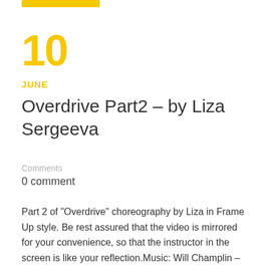[Figure (other): Yellow horizontal bar/button at top left]
10
JUNE
Overdrive Part2 – by Liza Sergeeva
Comments
0 comment
Part 2 of "Overdrive" choreography by Liza in Frame Up style. Be rest assured that the video is mirrored for your convenience, so that the instructor in the screen is like your reflection.Music: Will Champlin – Overdrive